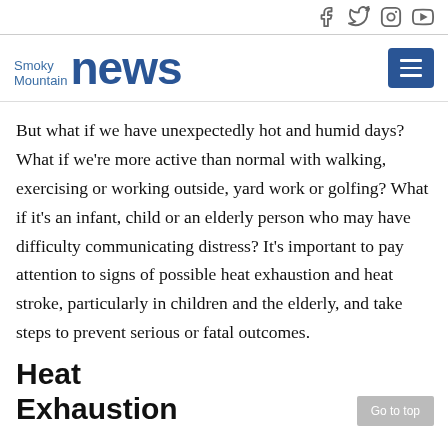Smoky Mountain News [social icons: Facebook, Twitter, Instagram, YouTube]
But what if we have unexpectedly hot and humid days? What if we're more active than normal with walking, exercising or working outside, yard work or golfing? What if it's an infant, child or an elderly person who may have difficulty communicating distress? It's important to pay attention to signs of possible heat exhaustion and heat stroke, particularly in children and the elderly, and take steps to prevent serious or fatal outcomes.
Heat Exhaustion